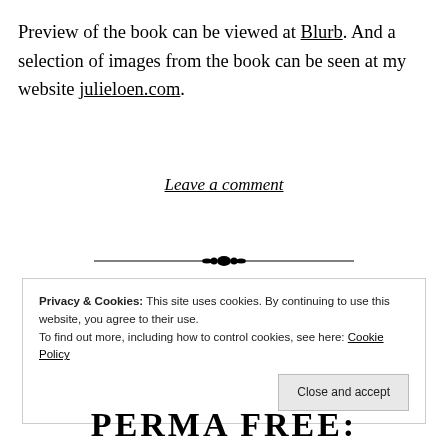Preview of the book can be viewed at Blurb. And a selection of images from the book can be seen at my website julieloen.com.
Leave a comment
[Figure (illustration): Decorative horizontal divider with a floral/diamond ornament in the center and lines extending to either side.]
Privacy & Cookies: This site uses cookies. By continuing to use this website, you agree to their use. To find out more, including how to control cookies, see here: Cookie Policy
Close and accept
PERMA FREE: